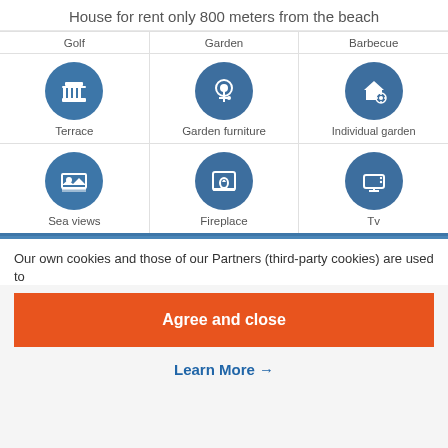House for rent only 800 meters from the beach
[Figure (infographic): Grid of amenity icons with labels: Golf, Garden, Barbecue (top row, partially visible), Terrace, Garden furniture, Individual garden (middle row), Sea views, Fireplace, Tv (bottom row). Each amenity shown as a white icon on a blue circle.]
Our own cookies and those of our Partners (third-party cookies) are used to
Agree and close
Learn More →